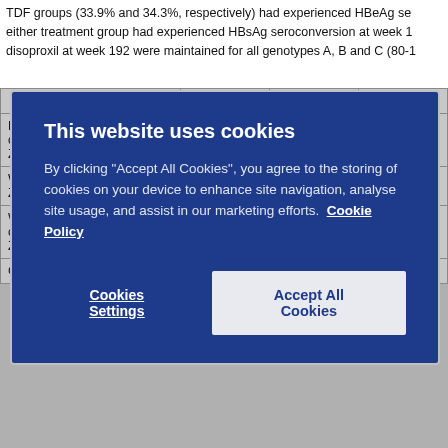TDF groups (33.9% and 34.3%, respectively) had experienced HBeAg seroconversion at week 1 either treatment group had experienced HBsAg seroconversion at week 1 disoproxil at week 192 were maintained for all genotypes A, B and C (80-1
[Figure (screenshot): Cookie consent popup overlay on a medical website. Dark blue background with title 'This website uses cookies', body text explaining cookie usage, a 'Cookie Policy' link, and two buttons: 'Cookies Settings' and 'Accept All Cookies'.]
|  |  |  |  |
| --- | --- | --- | --- |
|  | (1.044) | (1.200) | (1.030) |
| Lumbar spine mean (SD) change from baseline BMD Z-score | NA | NA | -0.03
(0.464) |
| Whole body mean (SD) BMD Z-score | -0.46
(1.113) | –0.34
(1.468) | -0.57
(0.978) |
| Whole body mean (SD) change from baseline BMD Z-score | NA | NA | –0.18
(0.514) |
| Cumulative incidence ≥ 4% | NA | NA | 18.3% |